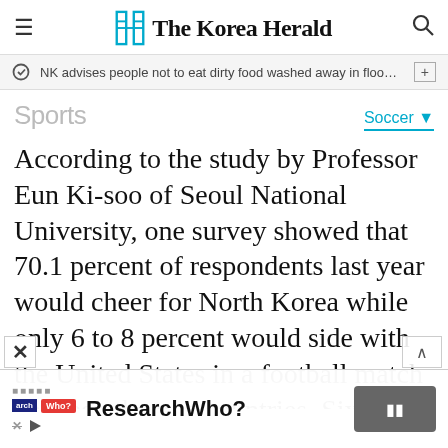The Korea Herald
NK advises people not to eat dirty food washed away in flood wa…
Sports
Soccer
According to the study by Professor Eun Ki-soo of Seoul National University, one survey showed that 70.1 percent of respondents last year would cheer for North Korea while only 6 to 8 percent would side with the United States in a football match between the two countries. Six to 10 percent said they would cheer for both teams, while the remaining 10 to 13 percent said they would not side with
ResearchWho?